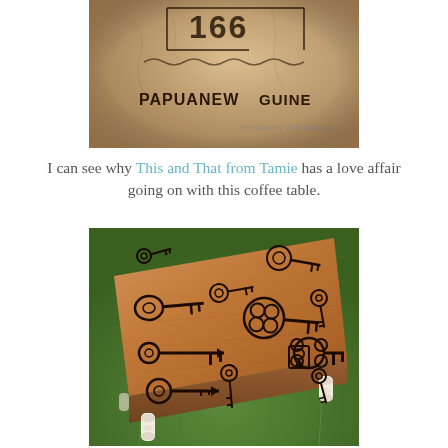[Figure (photo): Close-up photo of a tan/beige ceramic crock or jug with black markings reading '166' and 'PAPUA NEW GUINEA' with a watermark 'The Country Chic Cottage']
I can see why This and That from Tamie has a love affair going on with this coffee table.
[Figure (photo): Photo of a rustic wooden coffee table with white painted legs, sitting on green grass. The table top features various vintage skeleton key designs stenciled or burned in dark paint/ink.]